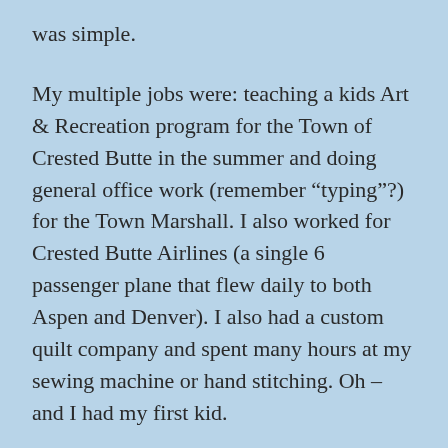was simple.
My multiple jobs were: teaching a kids Art & Recreation program for the Town of Crested Butte in the summer and doing general office work (remember “typing”?) for the Town Marshall. I also worked for Crested Butte Airlines (a single 6 passenger plane that flew daily to both Aspen and Denver). I also had a custom quilt company and spent many hours at my sewing machine or hand stitching. Oh – and I had my first kid.
When we first arrived we rented a small log structure (I think it had been some sort of barn but was converted to a crude but cozy cabin.) I hadn’t lost my urge for